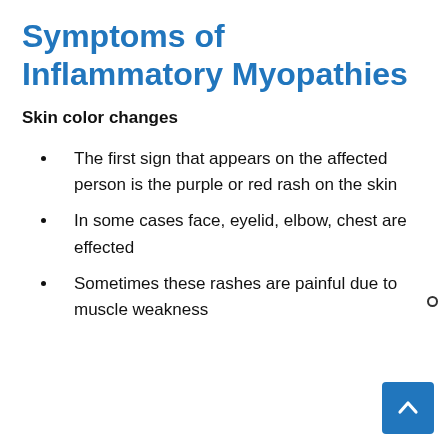Symptoms of Inflammatory Myopathies
Skin color changes
The first sign that appears on the affected person is the purple or red rash on the skin
In some cases face, eyelid, elbow, chest are effected
Sometimes these rashes are painful due to muscle weakness